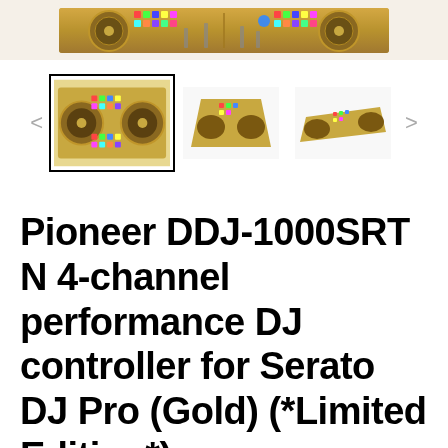[Figure (photo): Top portion of a gold Pioneer DDJ-1000SRT N DJ controller showing the top view with colorful RGB pads and jog wheels]
[Figure (photo): Thumbnail image gallery showing three views of the Pioneer DDJ-1000SRT N gold DJ controller: front view (selected with black border), angled top view, and angled side/back view. Left and right navigation arrows are present.]
Pioneer DDJ-1000SRT N 4-channel performance DJ controller for Serato DJ Pro (Gold) (*Limited Edition*)